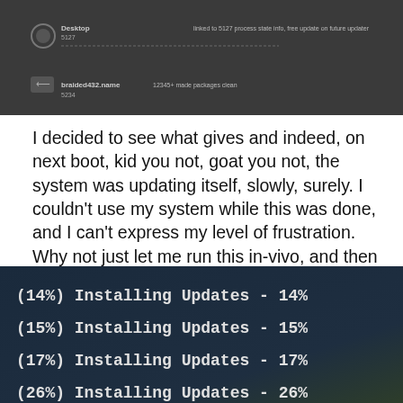[Figure (screenshot): Screenshot of a software interface or notification list with two rows, dark gray background, showing user entries with icons and text labels]
I decided to see what gives and indeed, on next boot, kid you not, goat you not, the system was updating itself, slowly, surely. I couldn't use my system while this was done, and I can't express my level of frustration. Why not just let me run this in-vivo, and then reboot to load the new kernel or whatnot. This is taking a perfectly sane and functional concept and dumbing it down to the pre-DOS era of pre-boot package updates. Hello mainframe! Don't want.
[Figure (screenshot): Screenshot of a Linux boot screen showing package update progress: (14%) Installing Updates - 14%, (15%) Installing Updates - 15%, (17%) Installing Updates - 17%, (26%) Installing Updates - 26%]